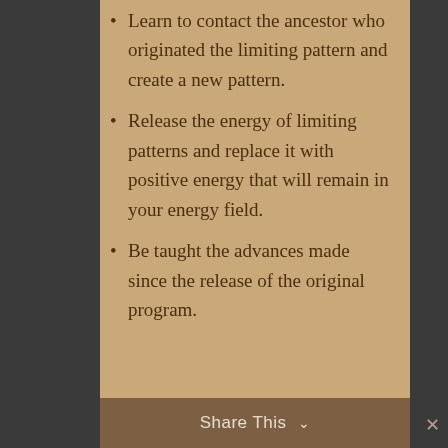Learn to contact the ancestor who originated the limiting pattern and create a new pattern.
Release the energy of limiting patterns and replace it with positive energy that will remain in your energy field.
Be taught the advances made since the release of the original program.
Share This ∨